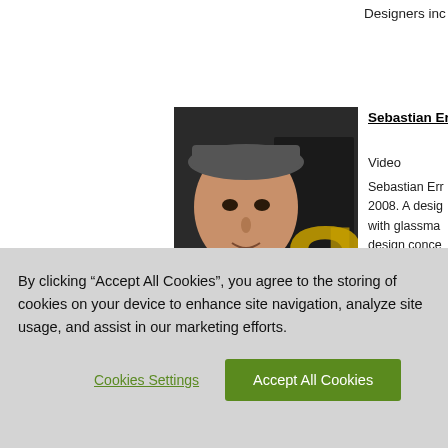Designers inc
[Figure (photo): Photo of Sebastian Err, a young man wearing a grey cap, with a dark background showing letters 'SL' in yellow/gold]
Sebastian Err
Video
Sebastian Err 2008. A design with glassma design conce
[Figure (photo): Photo of William and S, two people with long dark hair against a dark background showing letters 'ASS']
William and S
Video
William and S 3, 2008. A...
By clicking “Accept All Cookies”, you agree to the storing of cookies on your device to enhance site navigation, analyze site usage, and assist in our marketing efforts.
Cookies Settings
Accept All Cookies